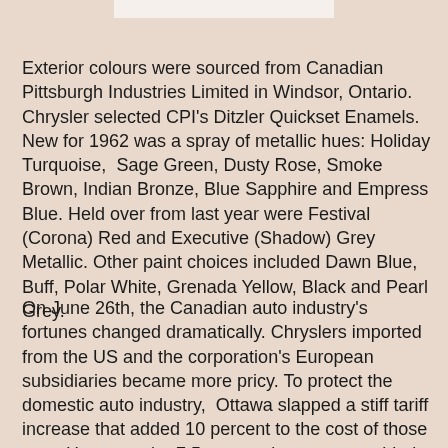[Figure (other): White rectangular bar at top of page]
Exterior colours were sourced from Canadian Pittsburgh Industries Limited in Windsor, Ontario. Chrysler selected CPI's Ditzler Quickset Enamels. New for 1962 was a spray of metallic hues: Holiday Turquoise,  Sage Green, Dusty Rose, Smoke Brown, Indian Bronze, Blue Sapphire and Empress Blue. Held over from last year were Festival (Corona) Red and Executive (Shadow) Grey Metallic. Other paint choices included Dawn Blue, Buff, Polar White, Grenada Yellow, Black and Pearl Grey.
On June 26th, the Canadian auto industry's fortunes changed dramatically. Chryslers imported from the US and the corporation's European subsidiaries became more pricy. To protect the domestic auto industry,  Ottawa slapped a stiff tariff increase that added 10 percent to the cost of those cars. However, the 7.5 percent luxury tax—added to the price of domestically built cars since World War Two—was